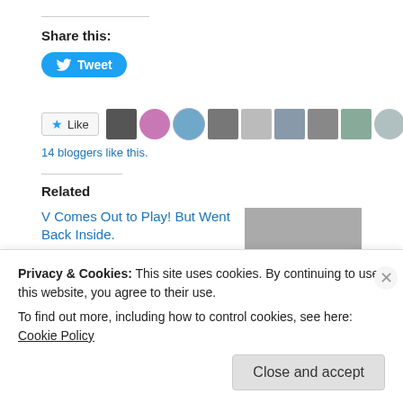Share this:
[Figure (screenshot): Tweet button (blue rounded button with Twitter bird icon and 'Tweet' text)]
[Figure (screenshot): Like button with star icon and row of 10 blogger avatar thumbnails]
14 bloggers like this.
Related
V Comes Out to Play! But Went Back Inside.
June 30, 2016
In "All Love"
[Figure (photo): Grayscale thumbnail photo (related article image)]
Privacy & Cookies: This site uses cookies. By continuing to use this website, you agree to their use.
To find out more, including how to control cookies, see here: Cookie Policy
Close and accept